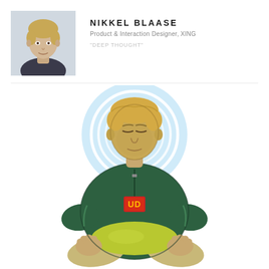[Figure (photo): Headshot photo of Nikkel Blaase, a young man with light brown hair, wearing a dark shirt, against a light background. A diagonal watermark reading 'everydaydesign.com' appears across the bottom-right corner of the photo.]
NIKKEL BLAASE
Product & Interaction Designer, XING
"DEEP THOUGHT"
[Figure (illustration): Comic-book style illustration of a person (resembling Nikkel Blaase) sitting in a lotus meditation pose, wearing a dark green zip-up hoodie with a red and orange 'UD' badge on the chest, and bright yellow-green pants. The figure has closed eyes and a serene expression, with a glowing blue halo/aura behind the head with concentric white rings. The figure is seated with hands resting on knees.]